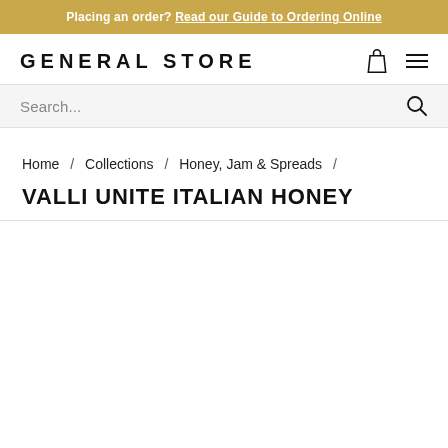Placing an order? Read our Guide to Ordering Online
GENERAL STORE
Search...
Home / Collections / Honey, Jam & Spreads /
VALLI UNITE ITALIAN HONEY
[Figure (photo): White product image area for Valli Unite Italian Honey]